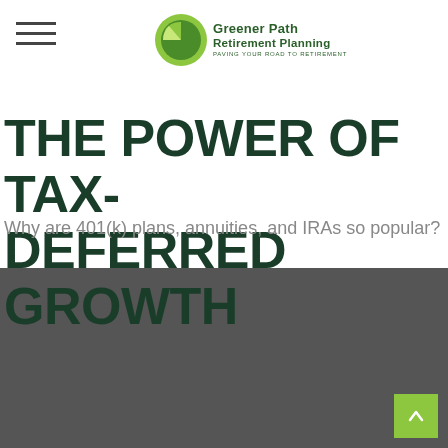Greener Path Retirement Planning — PAVING YOUR ROAD TO RETIREMENT
THE POWER OF TAX-DEFERRED GROWTH
Why are 401(k) plans, annuities, and IRAs so popular?